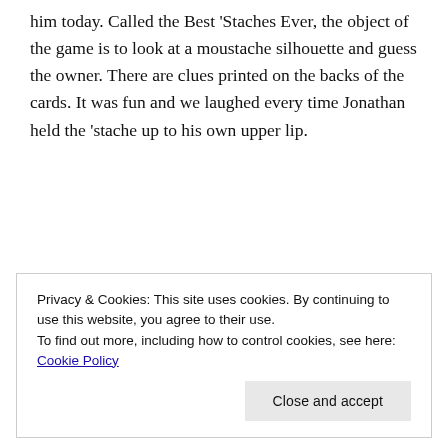him today. Called the Best 'Staches Ever, the object of the game is to look at a moustache silhouette and guess the owner. There are clues printed on the backs of the cards. It was fun and we laughed every time Jonathan held the 'stache up to his own upper lip.
Privacy & Cookies: This site uses cookies. By continuing to use this website, you agree to their use.
To find out more, including how to control cookies, see here: Cookie Policy